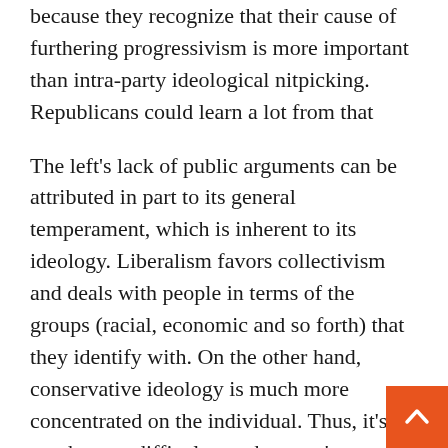because they recognize that their cause of furthering progressivism is more important than intra-party ideological nitpicking. Republicans could learn a lot from that
The left's lack of public arguments can be attributed in part to its general temperament, which is inherent to its ideology. Liberalism favors collectivism and deals with people in terms of the groups (racial, economic and so forth) that they identify with. On the other hand, conservative ideology is much more concentrated on the individual. Thus, it's much more difficult — when you're a rugged individualist as many conservatives are — to sit back and toe the party line. And it's not as though we should start conforming, but we should realize that sometimes, escalating deb in the center of the media's attention does more harm